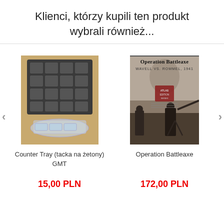Klienci, którzy kupili ten produkt wybrali również...
[Figure (photo): Photo of a plastic Counter Tray (tacka na żetony) by GMT — a dark grid tray with clear plastic insert showing coin/token compartments]
Counter Tray (tacka na żetony) GMT
15,00 PLN
[Figure (photo): Book cover of 'Operation Battleaxe — Wavell vs. Rommel, 1941' showing a sepia-toned WWII scene with soldiers and military equipment in the desert]
Operation Battleaxe
172,00 PLN